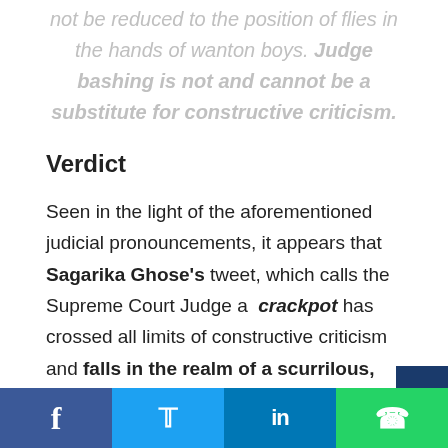not be reduced to the position of flies in the hands of wanton boys. Judge bashing is not and cannot be a substitute for constructive criticism.
Verdict
Seen in the light of the aforementioned judicial pronouncements, it appears that Sagarika Ghose's tweet, which calls the Supreme Court Judge a crackpot has crossed all limits of constructive criticism and falls in the realm of a scurrilous, and nonchalant attack on the Judge and the judicial